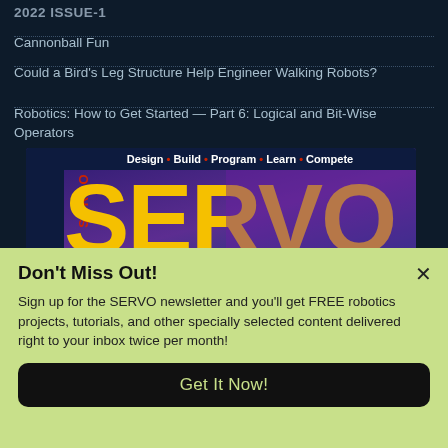2022 ISSUE-1
Cannonball Fun
Could a Bird's Leg Structure Help Engineer Walking Robots?
Robotics: How to Get Started — Part 6: Logical and Bit-Wise Operators
[Figure (screenshot): SERVO magazine cover showing 'Design • Build • Program • Learn • Compete' tagline with large yellow SERVO text on purple/blue background]
Don't Miss Out!
Sign up for the SERVO newsletter and you'll get FREE robotics projects, tutorials, and other specially selected content delivered right to your inbox twice per month!
Get It Now!